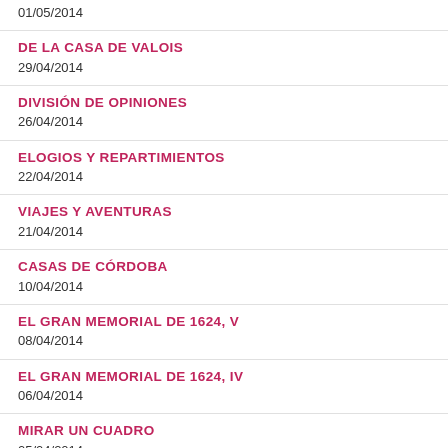01/05/2014
DE LA CASA DE VALOIS
29/04/2014
DIVISIÓN DE OPINIONES
26/04/2014
ELOGIOS Y REPARTIMIENTOS
22/04/2014
VIAJES Y AVENTURAS
21/04/2014
CASAS DE CÓRDOBA
10/04/2014
EL GRAN MEMORIAL DE 1624, V
08/04/2014
EL GRAN MEMORIAL DE 1624, IV
06/04/2014
MIRAR UN CUADRO
05/04/2014